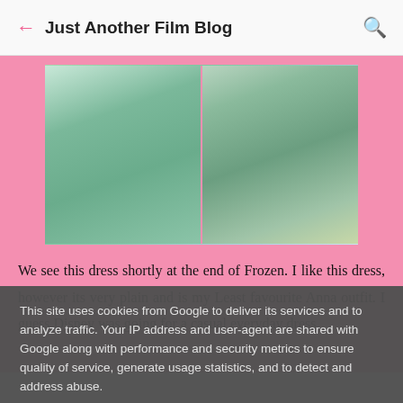← Just Another Film Blog 🔍
[Figure (photo): Two screenshots from the animated film Frozen showing a green/sage colored dress worn by the character Anna. Left image shows the bodice and yellow-trimmed belt area of the dress. Right image shows the lower skirt with floral embroidery details.]
We see this dress shortly at the end of Frozen. I like this dress, however its very plain and is my Least favourite Anna outfit. I guess Disney was going for a casual everyday dress,
This site uses cookies from Google to deliver its services and to analyze traffic. Your IP address and user-agent are shared with Google along with performance and security metrics to ensure quality of service, generate usage statistics, and to detect and address abuse.
LEARN MORE   OK